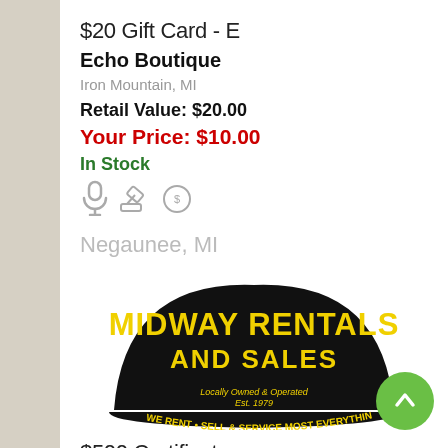$20 Gift Card - E
Echo Boutique
Iron Mountain, MI
Retail Value: $20.00
Your Price: $10.00
In Stock
[Figure (illustration): Three small icons: microphone, gavel/hammer, and a piggy bank with dollar sign]
Negaunee, MI
[Figure (logo): Midway Rentals and Sales logo — black banner shape with yellow text reading MIDWAY RENTALS AND SALES, with tagline WE RENT • SELL & SERVICE MOST EVERYTHING, Locally Owned & Operated, Est. 1979]
$500 Certificate
Midway Rentals and Sales
Negaunee, MI
Retail Value: $500.00